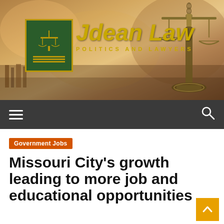[Figure (logo): Jdean Law website header banner with scales of justice logo, site title 'Jdean Law' in gold italic, tagline 'POLITICS AND LAWYERS', and blurred courtroom/legal scales background photo]
Jdean Law — POLITICS AND LAWYERS
Government Jobs
Missouri City's growth leading to more job and educational opportunities